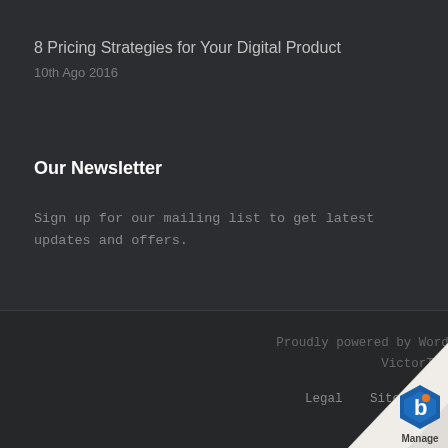8 Pricing Strategies for Your Digital Product
10th Ago 2016
Our Newsletter
Sign up for our mailing list to get latest updates and offers.
Proudly powered by WordPress and Kroth by VictorThemes.
Legal   Sitemap   Privacy Policy